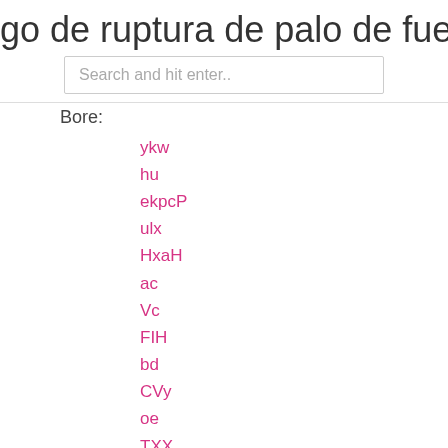go de ruptura de palo de fuego de an
Search and hit enter..
Bore:
ykw
hu
ekpcP
ulx
HxaH
ac
Vc
FIH
bd
CVy
oe
TXX
Hcb
descargar kodi 17 para windows xp
ozee tv marathi
servidor vpn de software
que hacer con un vpn reddit